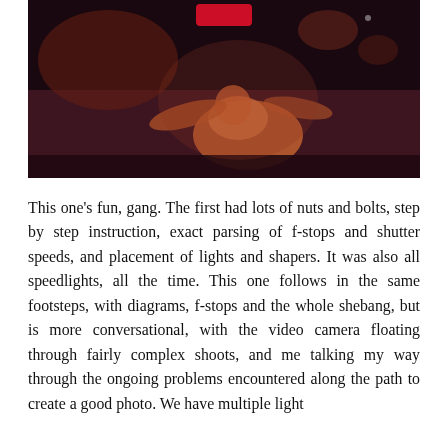[Figure (photo): Dark concert/performance photograph showing a person on stage under dramatic warm lighting, lying or sitting on a dark floor with stage lights visible in the background. A red logo or mark is visible at the top center.]
This one's fun, gang. The first had lots of nuts and bolts, step by step instruction, exact parsing of f-stops and shutter speeds, and placement of lights and shapers. It was also all speedlights, all the time. This one follows in the same footsteps, with diagrams, f-stops and the whole shebang, but is more conversational, with the video camera floating through fairly complex shoots, and me talking my way through the ongoing problems encountered along the path to create a good photo. We have multiple light